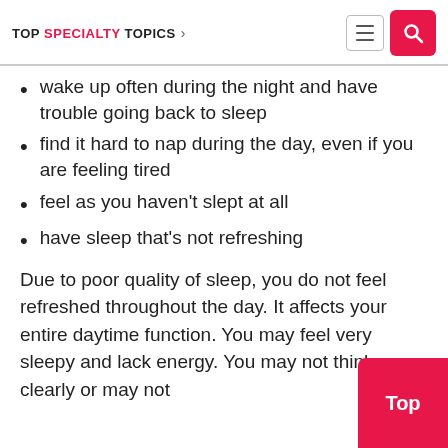TOP SPECIALTY TOPICS >
wake up often during the night and have trouble going back to sleep
find it hard to nap during the day, even if you are feeling tired
feel as you haven't slept at all
have sleep that's not refreshing
Due to poor quality of sleep, you do not feel refreshed throughout the day. It affects your entire daytime function. You may feel very sleepy and lack energy. You may not think clearly or may not